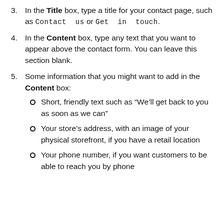3. In the Title box, type a title for your contact page, such as Contact us or Get in touch.
4. In the Content box, type any text that you want to appear above the contact form. You can leave this section blank.
5. Some information that you might want to add in the Content box:
Short, friendly text such as “We’ll get back to you as soon as we can”
Your store’s address, with an image of your physical storefront, if you have a retail location
Your phone number, if you want customers to be able to reach you by phone